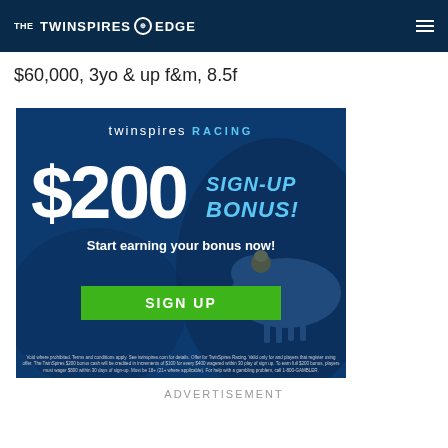THE TWINSPIRES EDGE
$60,000, 3yo & up f&m, 8.5f
[Figure (advertisement): TwinSpires Racing $200 Sign-Up Bonus advertisement with green SIGN UP button, jockey on horse imagery, and fine print disclaimer text.]
ADVERTISEMENT